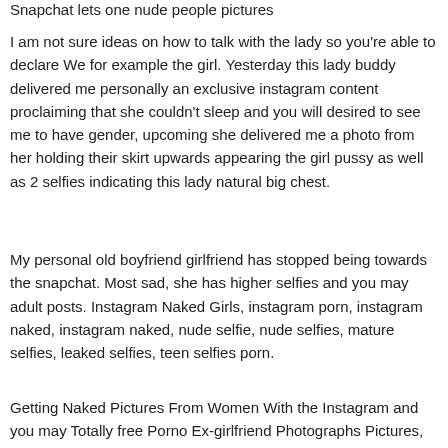Snapchat lets one nude people pictures
I am not sure ideas on how to talk with the lady so you're able to declare We for example the girl. Yesterday this lady buddy delivered me personally an exclusive instagram content proclaiming that she couldn't sleep and you will desired to see me to have gender, upcoming she delivered me a photo from her holding their skirt upwards appearing the girl pussy as well as 2 selfies indicating this lady natural big chest.
My personal old boyfriend girlfriend has stopped being towards the snapchat. Most sad, she has higher selfies and you may adult posts. Instagram Naked Girls, instagram porn, instagram naked, instagram naked, nude selfie, nude selfies, mature selfies, leaked selfies, teen selfies porn.
Getting Naked Pictures From Women With the Instagram and you may Totally free Porno Ex-girlfriend Photographs Pictures,